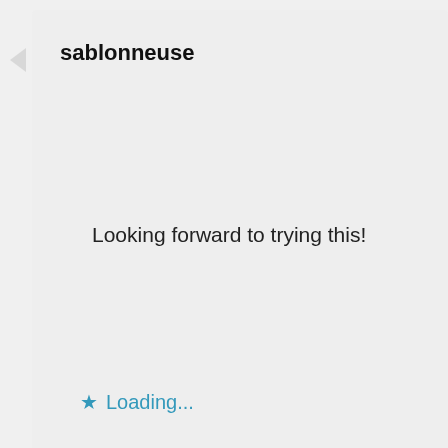sablonneuse
Looking forward to trying this!
★ Loading...
FEBRUARY 21, 2010 AT 3:20 PM
Privacy & Cookies: This site uses cookies. By continuing to use this website, you agree to their use.
To find out more, including how to control cookies, see here: Privacy and Cookie Policy
Close and accept